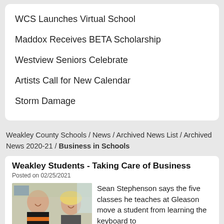WCS Launches Virtual School
Maddox Receives BETA Scholarship
Westview Seniors Celebrate
Artists Call for New Calendar
Storm Damage
Weakley County Schools / News / Archived News List / Archived News 2020-21 / Business in Schools
Weakley Students - Taking Care of Business
Posted on 02/25/2021
[Figure (photo): Two people smiling: a man in a black and orange jacket on the left and a woman with blonde hair on the right, in a classroom setting.]
Sean Stephenson says the five classes he teaches at Gleason move a student from learning the keyboard to